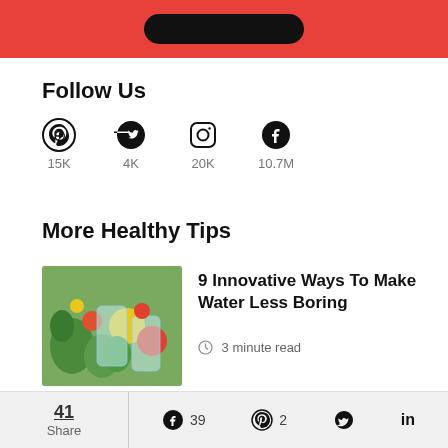[Figure (other): Red banner with dark button at top of page]
Follow Us
[Figure (infographic): Social media icons: Pinterest 15K, Twitter 4K, Instagram 20K, Facebook 10.7M]
More Healthy Tips
[Figure (photo): Thumbnail image of infused water drinks with fruits and vegetables]
9 Innovative Ways To Make Water Less Boring
3 minute read
[Figure (photo): Thumbnail image for Otitis Media article]
Learn More About Otitis Media (Middle
41 Share  39  2  (Twitter)  in